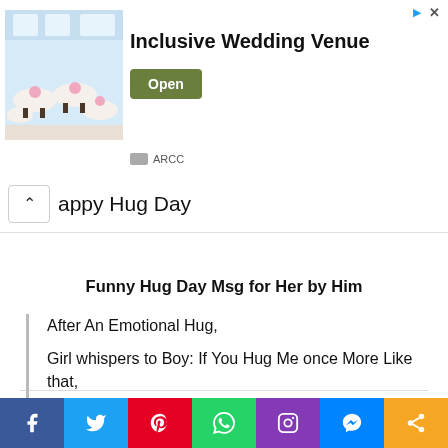[Figure (photo): Advertisement banner for Inclusive Wedding Venue showing a decorated banquet hall with round tables and floral centerpieces. Includes an Open button and ARCC branding.]
appy Hug Day
Funny Hug Day Msg for Her by Him
After An Emotional Hug,
Girl whispers to Boy: If You Hug Me once More Like that,
I will be yours forever.
[Figure (infographic): Social media sharing bar with Facebook, Twitter, Pinterest, WhatsApp, Instagram, Messenger, and Share buttons]